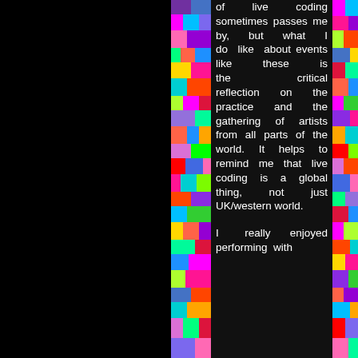[Figure (illustration): Black left half of page with colorful pixel/mosaic strip as a vertical divider column on the left side of the text block]
of live coding sometimes passes me by, but what I do like about events like these is the critical reflection on the practice and the gathering of artists from all parts of the world. It helps to remind me that live coding is a global thing, not just UK/western world.

I really enjoyed performing with
[Figure (illustration): Colorful pixel/mosaic strip on the right edge of the page]